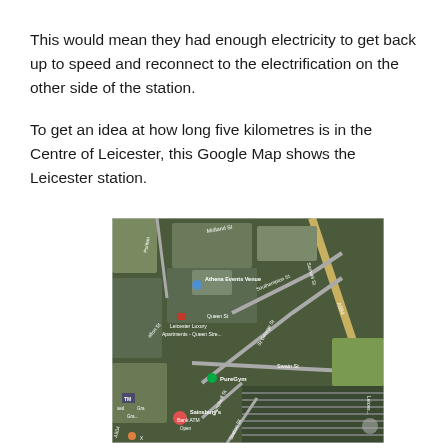This would mean they had enough electricity to get back up to speed and reconnect to the electrification on the other side of the station.
To get an idea at how long five kilometres is in the Centre of Leicester, this Google Map shows the Leicester station.
[Figure (map): Google Maps satellite view of Leicester city centre showing Leicester station area with labels for Athena Events Centre, Leicester Luxury Apartments - Queen Stre..., PureGym, Sainsbury's Bank ATM, streets including Midland St, Southampton St, St George St, Swain St, Campbell St, Station St, and road A594.]